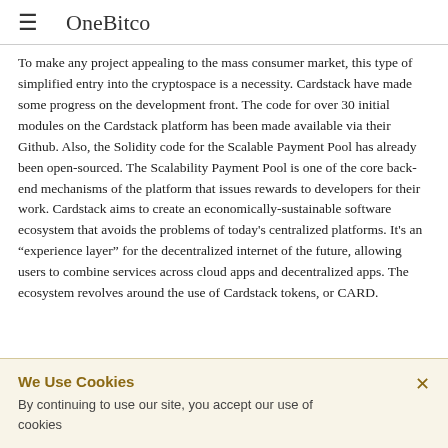≡  OneBitco
To make any project appealing to the mass consumer market, this type of simplified entry into the cryptospace is a necessity. Cardstack have made some progress on the development front. The code for over 30 initial modules on the Cardstack platform has been made available via their Github. Also, the Solidity code for the Scalable Payment Pool has already been open-sourced. The Scalability Payment Pool is one of the core back-end mechanisms of the platform that issues rewards to developers for their work. Cardstack aims to create an economically-sustainable software ecosystem that avoids the problems of today's centralized platforms. It's an "experience layer" for the decentralized internet of the future, allowing users to combine services across cloud apps and decentralized apps. The ecosystem revolves around the use of Cardstack tokens, or CARD.
We Use Cookies
By continuing to use our site, you accept our use of cookies